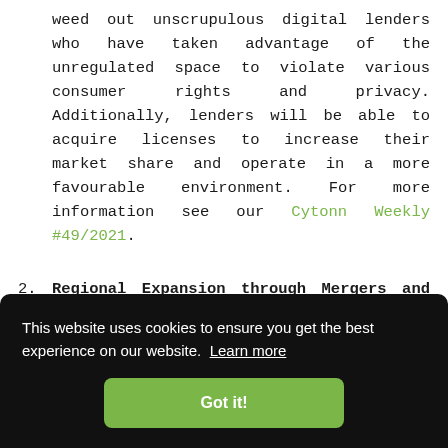weed out unscrupulous digital lenders who have taken advantage of the unregulated space to violate various consumer rights and privacy. Additionally, lenders will be able to acquire licenses to increase their market share and operate in a more favourable environment. For more information see our Cytonn Weekly #49/2021.
2. Regional Expansion through Mergers and Acquisitions: Kenyan banks are looking at having an extensive regional reach. In Q1'2022, there were
This website uses cookies to ensure you get the best experience on our website. Learn more
Got it!
Bank to Access Bank PLC, for a consideration of